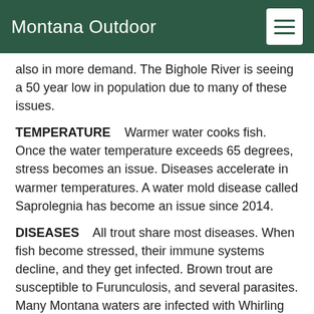Montana Outdoor
also in more demand. The Bighole River is seeing a 50 year low in population due to many of these issues.
TEMPERATURE    Warmer water cooks fish. Once the water temperature exceeds 65 degrees, stress becomes an issue. Diseases accelerate in warmer temperatures. A water mold disease called Saprolegnia has become an issue since 2014.
DISEASES    All trout share most diseases. When fish become stressed, their immune systems decline, and they get infected. Brown trout are susceptible to Furunculosis, and several parasites. Many Montana waters are infected with Whirling disease. Warmer and lower waters accelerate the spread of the parasites that cause disease. Parasites are released through the trout's urine and spread. Some species are more vulnerable to one disease or another, but most trout become impacted. A new parasite caused kidney disease, Tetracapsuloiddes bryosalmonae, could also be to blame. Bucket Biology or illegal